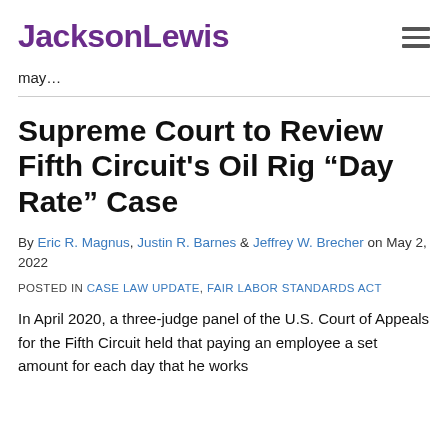JacksonLewis
may...
Supreme Court to Review Fifth Circuit's Oil Rig “Day Rate” Case
By Eric R. Magnus, Justin R. Barnes & Jeffrey W. Brecher on May 2, 2022
POSTED IN CASE LAW UPDATE, FAIR LABOR STANDARDS ACT
In April 2020, a three-judge panel of the U.S. Court of Appeals for the Fifth Circuit held that paying an employee a set amount for each day that he works is not...